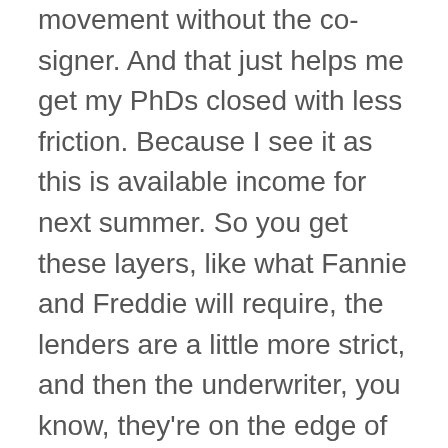movement without the co-signer. And that just helps me get my PhDs closed with less friction. Because I see it as this is available income for next summer. So you get these layers, like what Fannie and Freddie will require, the lenders are a little more strict, and then the underwriter, you know, they're on the edge of the fence. It could go one way or another. I couldn't be happier working with PhDs. They're responsive, understanding, usually very qualified, and they're very, there's no heavy lifting with doing these PhDs anymore. The back end, and then behind that's that...